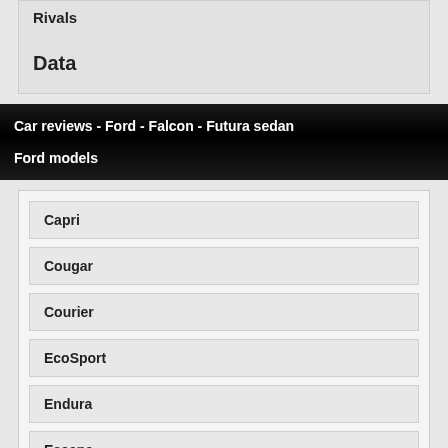Rivals
Data
Car reviews - Ford - Falcon - Futura sedan
Ford models
Capri
Cougar
Courier
EcoSport
Endura
Escape
Everest
Explorer